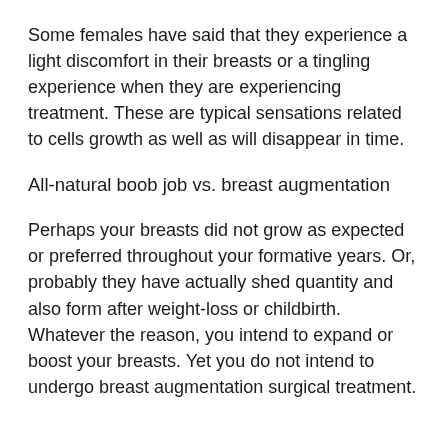Some females have said that they experience a light discomfort in their breasts or a tingling experience when they are experiencing treatment. These are typical sensations related to cells growth as well as will disappear in time.
All-natural boob job vs. breast augmentation
Perhaps your breasts did not grow as expected or preferred throughout your formative years. Or, probably they have actually shed quantity and also form after weight-loss or childbirth. Whatever the reason, you intend to expand or boost your breasts. Yet you do not intend to undergo breast augmentation surgical treatment.